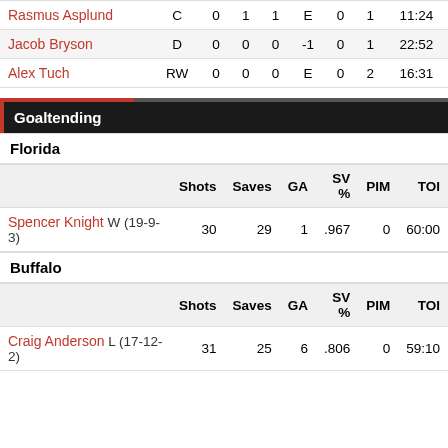|  | Pos | G | A | P | +/- | PIM | PPP | TOI |
| --- | --- | --- | --- | --- | --- | --- | --- | --- |
| Rasmus Asplund | C | 0 | 1 | 1 | E | 0 | 1 | 11:24 |
| Jacob Bryson | D | 0 | 0 | 0 | -1 | 0 | 1 | 22:52 |
| Alex Tuch | RW | 0 | 0 | 0 | E | 0 | 2 | 16:31 |
Goaltending
Florida
|  | Shots | Saves | GA | SV % | PIM | TOI |
| --- | --- | --- | --- | --- | --- | --- |
| Spencer Knight W (19-9-3) | 30 | 29 | 1 | .967 | 0 | 60:00 |
Buffalo
|  | Shots | Saves | GA | SV % | PIM | TOI |
| --- | --- | --- | --- | --- | --- | --- |
| Craig Anderson L (17-12-2) | 31 | 25 | 6 | .806 | 0 | 59:10 |